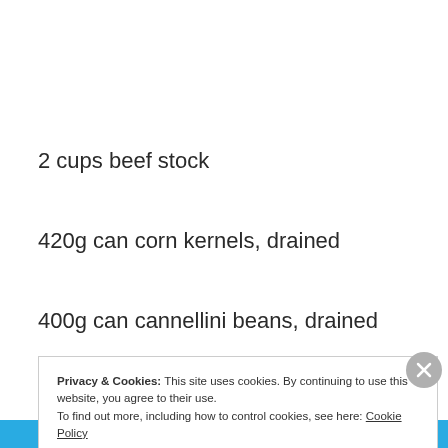2 cups beef stock
420g can corn kernels, drained
400g can cannellini beans, drained
Privacy & Cookies: This site uses cookies. By continuing to use this website, you agree to their use.
To find out more, including how to control cookies, see here: Cookie Policy
Close and accept